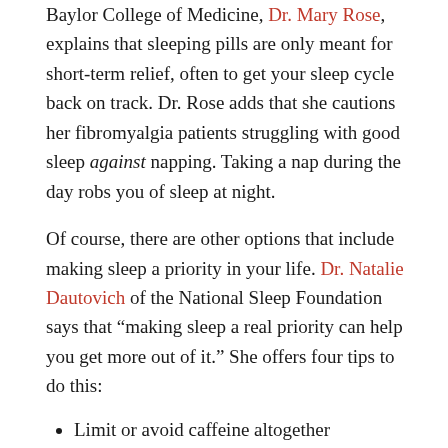Baylor College of Medicine, Dr. Mary Rose, explains that sleeping pills are only meant for short-term relief, often to get your sleep cycle back on track. Dr. Rose adds that she cautions her fibromyalgia patients struggling with good sleep against napping. Taking a nap during the day robs you of sleep at night.
Of course, there are other options that include making sleep a priority in your life. Dr. Natalie Dautovich of the National Sleep Foundation says that "making sleep a real priority can help you get more out of it." She offers four tips to do this:
Limit or avoid caffeine altogether
Limit alcohol, especially at night
Use medications when needed (Talk to your doctor about how and when to use them.)